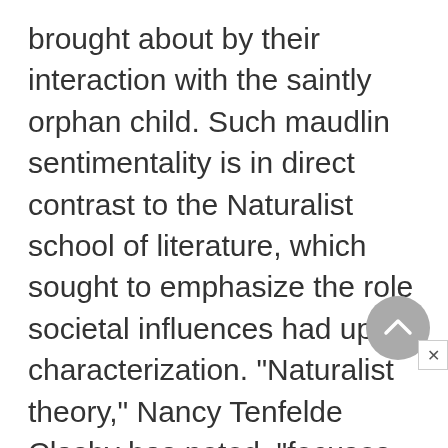brought about by their interaction with the saintly orphan child. Such maudlin sentimentality is in direct contrast to the Naturalist school of literature, which sought to emphasize the role societal influences had upon characterization. "Naturalist theory," Nancy Tenfelde Clasby has noted, "focuses on the determining factors of heredity and environment and marginalizes free choice. It goes much farther than realism in emphasizing the dominance of impersonal forces